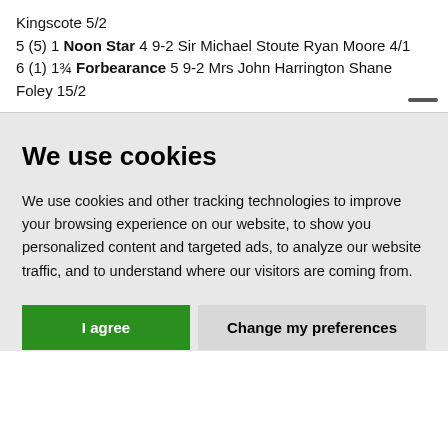Kingscote 5/2
5 (5) 1 Noon Star 4 9-2 Sir Michael Stoute Ryan Moore 4/1
6 (1) 1¾ Forbearance 5 9-2 Mrs John Harrington Shane Foley 15/2
We use cookies
We use cookies and other tracking technologies to improve your browsing experience on our website, to show you personalized content and targeted ads, to analyze our website traffic, and to understand where our visitors are coming from.
I agree | Change my preferences